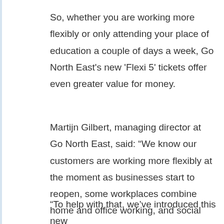So, whether you are working more flexibly or only attending your place of education a couple of days a week, Go North East's new 'Flexi 5' tickets offer even greater value for money.
Martijn Gilbert, managing director at Go North East, said: “We know our customers are working more flexibly at the moment as businesses start to reopen, some workplaces combine home and office working, and social distancing is still in place.
“To help with that, we’ve introduced this new